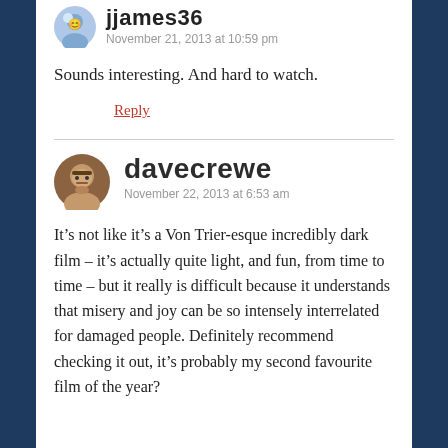jjames36
November 21, 2013 at 10:59 pm
Sounds interesting. And hard to watch.
Reply
davecrewe
November 22, 2013 at 6:53 am
It’s not like it’s a Von Trier-esque incredibly dark film – it’s actually quite light, and fun, from time to time – but it really is difficult because it understands that misery and joy can be so intensely interrelated for damaged people. Definitely recommend checking it out, it’s probably my second favourite film of the year?